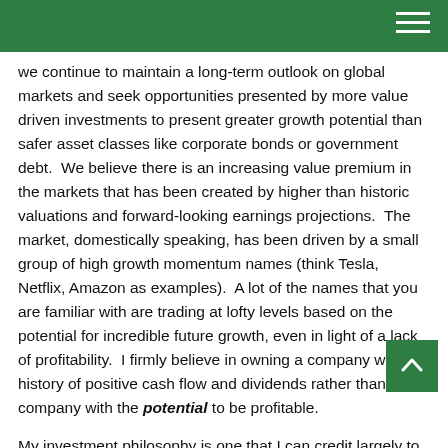we continue to maintain a long-term outlook on global markets and seek opportunities presented by more value driven investments to present greater growth potential than safer asset classes like corporate bonds or government debt.  We believe there is an increasing value premium in the markets that has been created by higher than historic valuations and forward-looking earnings projections.  The market, domestically speaking, has been driven by a small group of high growth momentum names (think Tesla, Netflix, Amazon as examples).  A lot of the names that you are familiar with are trading at lofty levels based on the potential for incredible future growth, even in light of a lack of profitability.  I firmly believe in owning a company with a history of positive cash flow and dividends rather than a company with the potential to be profitable.
My investment philosophy is one that I can credit largely to